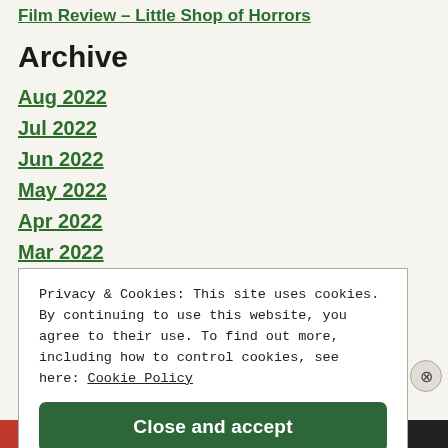Film Review – Little Shop of Horrors
Archive
Aug 2022
Jul 2022
Jun 2022
May 2022
Apr 2022
Mar 2022
Privacy & Cookies: This site uses cookies. By continuing to use this website, you agree to their use. To find out more, including how to control cookies, see here: Cookie Policy
Close and accept